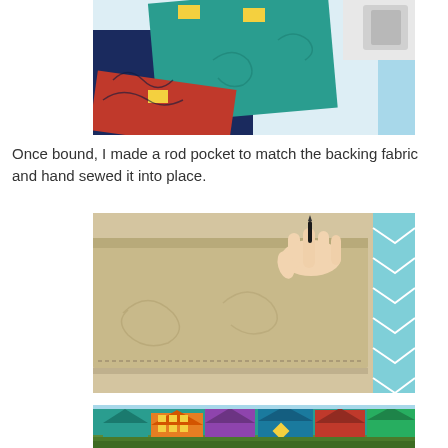[Figure (photo): Close-up of colorful quilt fabric with navy blue, teal, red, and yellow patches being sewn at a sewing machine. Light blue binding visible on the right edge.]
Once bound, I made a rod pocket to match the backing fabric and hand sewed it into place.
[Figure (photo): A hand holding the back of a quilt showing a beige/cream rod pocket sewn along the top edge, with light blue chevron binding visible on the right side.]
[Figure (photo): Partial view of the front of a colorful quilt with teal, blue, orange, and red geometric house-shaped blocks laid on grass.]